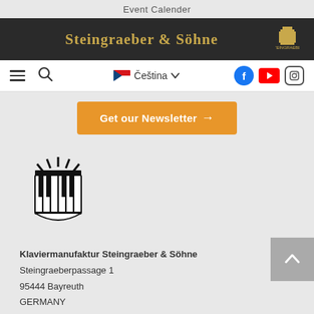Event Calender
[Figure (logo): Steingraeber & Söhne brand name in gold serif font on dark background with small crest logo]
[Figure (screenshot): Navigation bar with hamburger menu, search icon, Czech flag language selector (Čeština), Facebook, YouTube, and Instagram icons]
[Figure (infographic): Orange newsletter button: Get our Newsletter ->]
[Figure (logo): Steingraeber & Söhne black piano/crown crest logo]
Klaviermanufaktur Steingraeber & Söhne
Steingraeberpassage 1
95444 Bayreuth
GERMANY